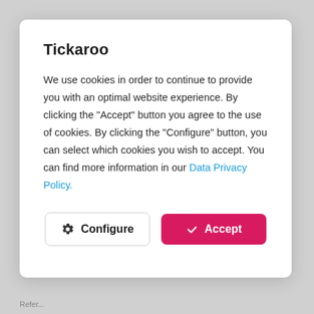Tickaroo
We use cookies in order to continue to provide you with an optimal website experience. By clicking the "Accept" button you agree to the use of cookies. By clicking the "Configure" button, you can select which cookies you wish to accept. You can find more information in our Data Privacy Policy.
[Figure (screenshot): Configure button with gear icon and Accept button with checkmark icon]
Refer...